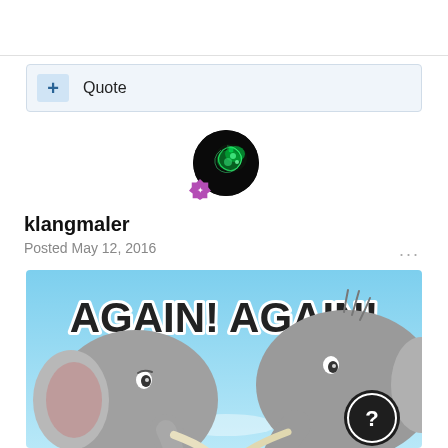+ Quote
[Figure (illustration): User avatar: dark circle with green glowing bacteria/organism illustration, with a purple hexagonal badge overlay at bottom-left]
klangmaler
Posted May 12, 2016
[Figure (illustration): Cartoon image of two elephants facing each other against a light blue sky background with white text 'AGAIN! AGAIN!' at the top in bold outlined letters. A black circular help button with a question mark is visible at the bottom right.]